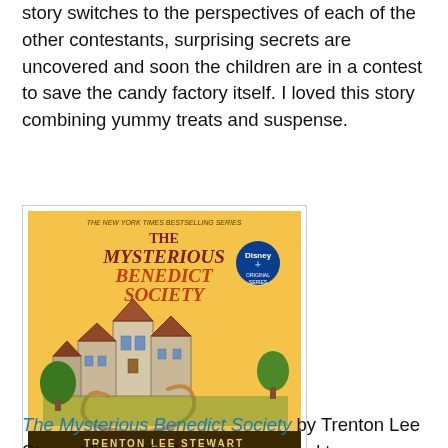story switches to the perspectives of each of the other contestants, surprising secrets are uncovered and soon the children are in a contest to save the candy factory itself. I loved this story combining yummy treats and suspense.
[Figure (illustration): Book cover of 'The Mysterious Benedict Society' by Trenton Lee Stewart, showing a fantasy castle illustration on a yellow background with a Disney+ badge]
The Mysterious Benedict Society by Trenton Lee Stewart Four gifted children respond to an unusual ad in the newspaper and are chosen to infiltrate a secret school. They find riddles, danger, tunnels, and an evil man who wants to rule the world. My children loved this book though it is a little darker and scarier than the other books on this list. You might want to discuss the Whisperer and telepathy with your